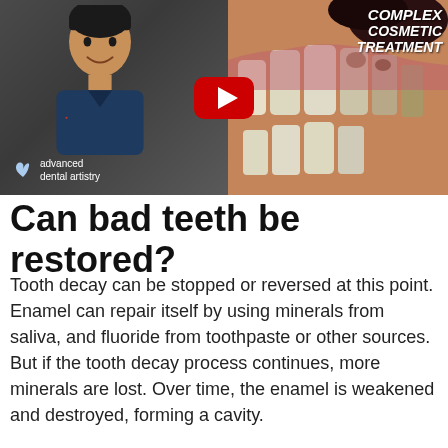[Figure (screenshot): YouTube video thumbnail showing a dentist (smiling Asian man in blue scrubs with 'advanced dental artistry' logo on the left) and a close-up photo of damaged teeth on the right, with overlaid text 'COMPLEX COSMETIC TREATMENT' and a YouTube play button in the center.]
Can bad teeth be restored?
Tooth decay can be stopped or reversed at this point. Enamel can repair itself by using minerals from saliva, and fluoride from toothpaste or other sources. But if the tooth decay process continues, more minerals are lost. Over time, the enamel is weakened and destroyed, forming a cavity.